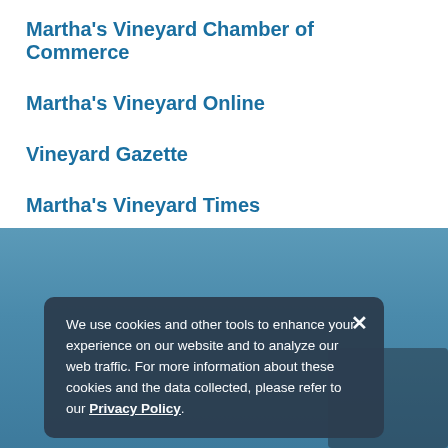Martha's Vineyard Chamber of Commerce
Martha's Vineyard Online
Vineyard Gazette
Martha's Vineyard Times
[Figure (screenshot): Blue-tinted background image with a dark cookie consent dialog overlay. The dialog contains text about cookies and a Privacy Policy link, with an X close button in the top right.]